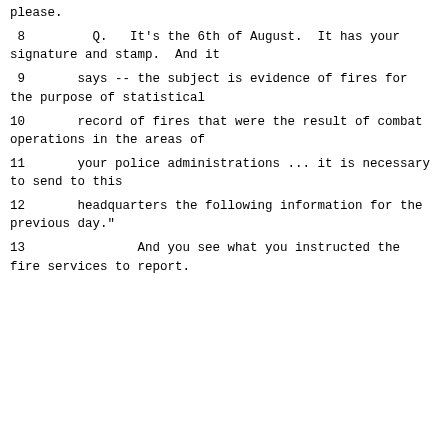please.
8        Q.   It's the 6th of August.  It has your signature and stamp.  And it
9        says -- the subject is evidence of fires for the purpose of statistical
10       record of fires that were the result of combat operations in the areas of
11       your police administrations ... it is necessary to send to this
12       headquarters the following information for the previous day."
13               And you see what you instructed the fire services to report.